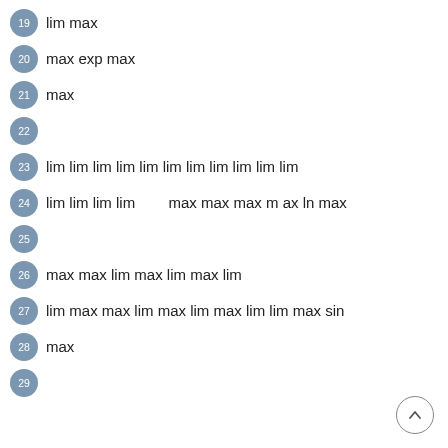19  lim max
20  max exp max
21  max
22
23  lim lim lim lim lim lim lim lim lim lim lim
24  lim lim lim lim        max max max m ax ln max
25
26  max max lim max lim max lim
27  lim max max lim max lim max lim lim max sin
28  max
29